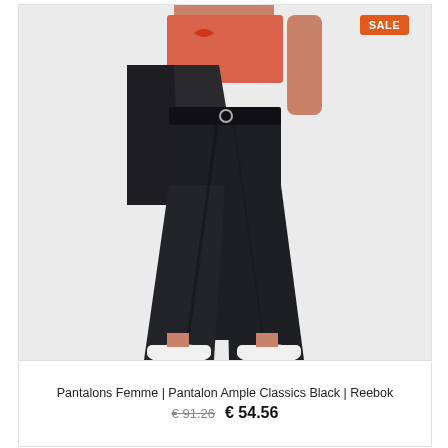[Figure (photo): A woman wearing black wide-leg Reebok Classics trousers, a coral/red crop top, and white sneakers, holding a black blazer over her shoulder. Light grey background.]
Pantalons Femme | Pantalon Ample Classics Black | Reebok
€ 91.26  € 54.56